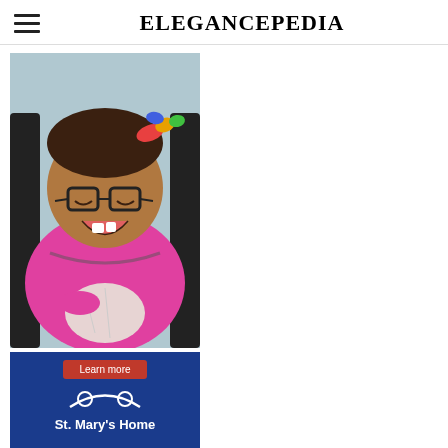ELEGANCEPEDIA
[Figure (photo): Advertisement photo showing a smiling child with glasses in a wheelchair wearing a pink top and colorful hair bow, holding a cloth. Below the photo is a 'Learn more' red button and a blue banner with the St. Mary's Home logo.]
ARCHIVES